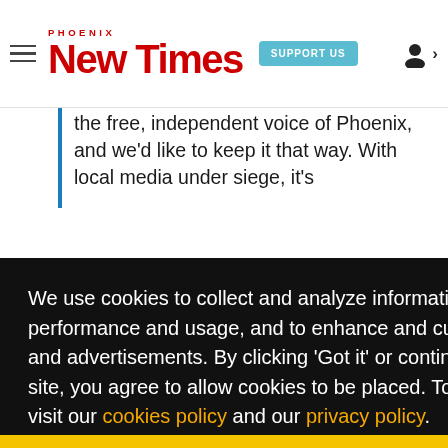Phoenix New Times — SUPPORT US — [user icon]
the free, independent voice of Phoenix, and we'd like to keep it that way. With local media under siege, it's
We use cookies to collect and analyze information on site performance and usage, and to enhance and customize content and advertisements. By clicking 'Got it' or continuing to use the site, you agree to allow cookies to be placed. To find out more, visit our cookies policy and our privacy policy.
Got it!